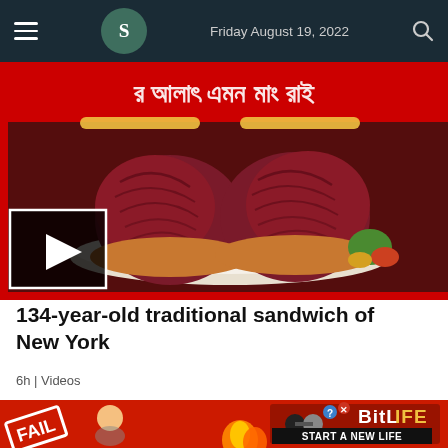Friday August 19, 2022
[Figure (photo): YouTube-style video thumbnail showing a large pastrami or corned beef sandwich on a white plate, with text in Bengali script on a red banner at top, and a play button overlay at bottom left. Red borders on left and bottom edges.]
134-year-old traditional sandwich of New York
6h | Videos
[Figure (photo): Partially visible thumbnail of next article with yellow background]
[Figure (infographic): BitLife advertisement banner with FAIL text, animated character, fire, and BitLife logo with 'START A NEW LIFE' tagline]